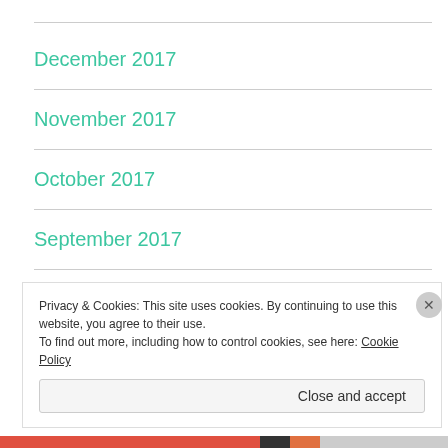December 2017
November 2017
October 2017
September 2017
August 2017
Privacy & Cookies: This site uses cookies. By continuing to use this website, you agree to their use.
To find out more, including how to control cookies, see here: Cookie Policy
Close and accept